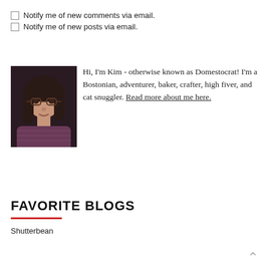Notify me of new comments via email.
Notify me of new posts via email.
[Figure (photo): Photo of Kim, a woman with long brown hair and glasses, wearing a purple patterned sweater.]
Hi, I'm Kim - otherwise known as Domestocrat! I'm a Bostonian, adventurer, baker, crafter, high fiver, and cat snuggler. Read more about me here.
FAVORITE BLOGS
Shutterbean